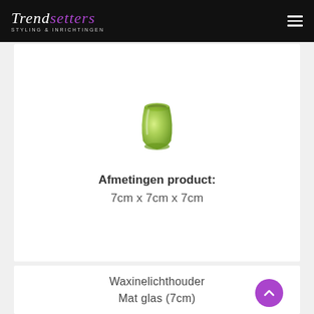TRENDSETTERS STYLING & INRICHTINGEN
[Figure (photo): Small green translucent glass waxine light holder, rounded barrel shape, approximately 7cm]
Afmetingen product:
7cm x 7cm x 7cm
Waxinelichthouder Mat glas (7cm)